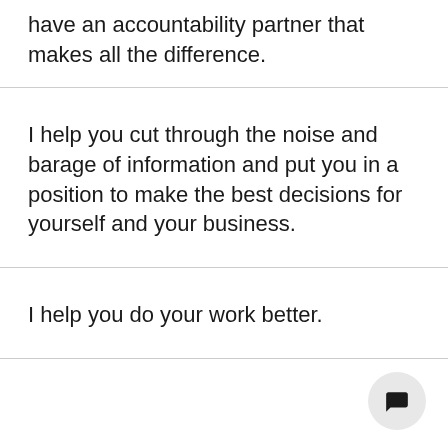have an accountability partner that makes all the difference.
I help you cut through the noise and barage of information and put you in a position to make the best decisions for yourself and your business.
I help you do your work better.